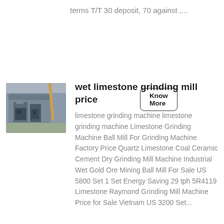terms T/T 30 deposit, 70 against ,...
Know More
[Figure (photo): Industrial wet limestone grinding mill machinery outdoors]
wet limestone grinding mill price
limestone grinding machine limestone grinding machine Limestone Grinding Machine Ball Mill For Grinding Machine Factory Price Quartz Limestone Coal Ceramic Cement Dry Grinding Mill Machine Industrial Wet Gold Ore Mining Ball Mill For Sale US 5800 Set 1 Set Energy Saving 29 tph 5R4119 Limestone Raymond Grinding Mill Machine Price for Sale Vietnam US 3200 Set...